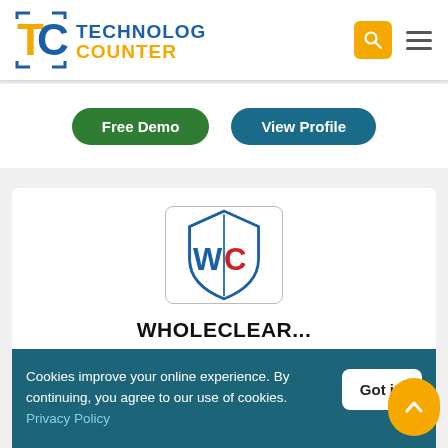[Figure (logo): Technology Counter logo — orange/blue TC mark with company name text]
Free Demo
View Profile
[Figure (logo): WholeClear shield logo — blue and red WC initials on a shield shape]
WHOLECLEAR...
Export Thunderbird M...
★ ★ ★ ★ ★ (empty stars)
Cookies improve your online experience. By continuing, you agree to our use of cookies. Privacy Policy
Got it!